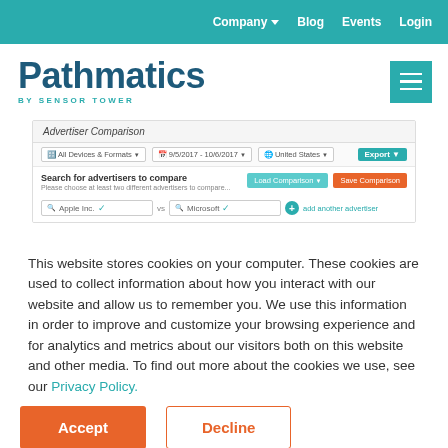Company Blog Events Login
[Figure (logo): Pathmatics by Sensor Tower logo with teal hamburger menu button]
[Figure (screenshot): Advertiser Comparison tool screenshot showing search fields for Apple Inc. and Microsoft with Load Comparison and Save Comparison buttons]
This website stores cookies on your computer. These cookies are used to collect information about how you interact with our website and allow us to remember you. We use this information in order to improve and customize your browsing experience and for analytics and metrics about our visitors both on this website and other media. To find out more about the cookies we use, see our Privacy Policy.
[Figure (other): Accept and Decline cookie consent buttons]